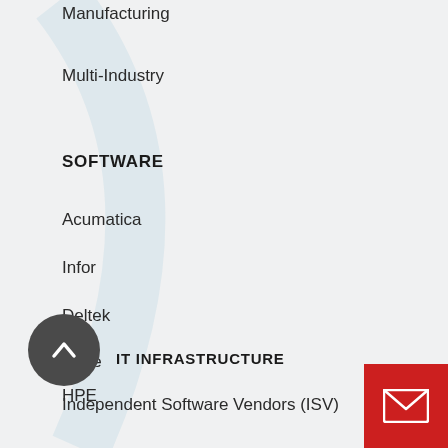Manufacturing
Multi-Industry
SOFTWARE
Acumatica
Infor
Deltek
Sage
Independent Software Vendors (ISV)
IT INFRASTRUCTURE
HPE